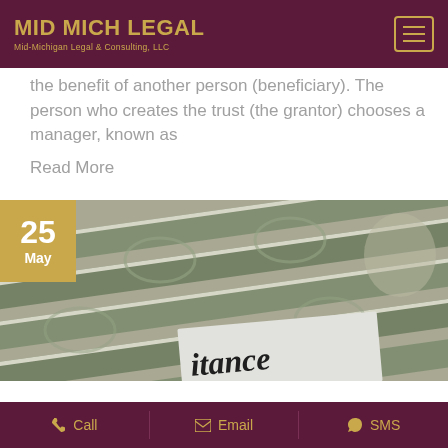MID MICH LEGAL — Mid-Michigan Legal & Consulting, LLC
the benefit of another person (beneficiary). The person who creates the trust (the grantor) chooses a manager, known as
Read More
[Figure (photo): Photo of fanned US $100 bills with a paper partially visible showing the word 'itance', suggesting inheritance. Date badge shows 25 May in the upper left corner.]
Call   Email   SMS